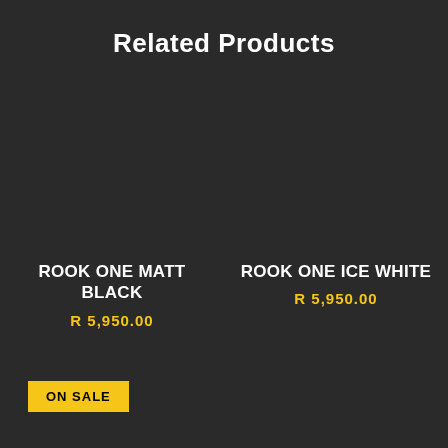Related Products
ROOK ONE MATT BLACK
R 5,950.00
ROOK ONE ICE WHITE
R 5,950.00
ON SALE